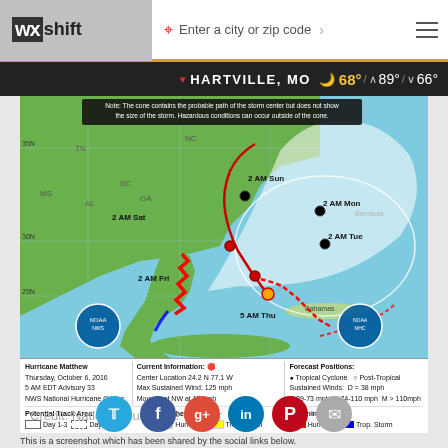WXshift — Enter a city or zip code
HARTVILLE, MO  68° / 89° / 66°
[Figure (map): NHC hurricane track map for Hurricane Matthew showing forecast cone, track positions (2 AM Fri, 2 AM Sat, 2 AM Sun, 2 AM Mon, 2 AM Tue, 5 AM Thu), hurricane watches/warnings, and tropical storm watches/warnings along southeastern US coast and Bahamas. Note text: The cone contains the probable path of the storm center but does not show the size of the storm. Hazardous conditions can occur outside of the cone.]
Hurricane Matthew
Thursday, October 6, 2016
5 AM EDT Advisory 33
NWS National Hurricane Center

Current Information:
Center Location 24.2 N 77.1 W
Max Sustained Wind: 125 mph
Movement NW at 12 mph

Forecast Positions:
● Tropical Cyclone  ○ Post-Tropical
Sustained Winds: D = 38 mph
S 39-73 mph  H 74-110 mph  M > 110mph

Potential Track Area:
◯ Day 1-3  ○ Day 4-6

Watches:
[pink] Hurricane  [yellow] Trop. Storm

Warnings:
[red] Hurricane  [blue] Trop. Storm
Credit: National Hurricane Center
This is a screenshot which has been shared by the social links below.